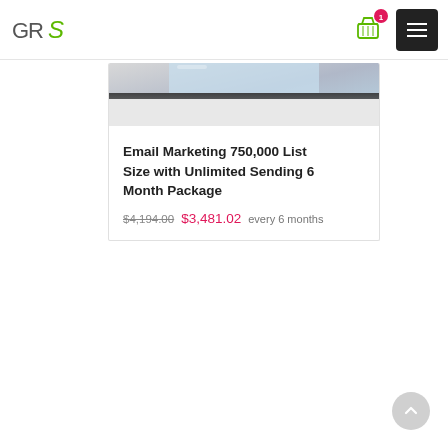GRS [logo] | cart (1) | menu
[Figure (photo): Close-up photo of a laptop or device showing a blue and gray surface, partially visible from the top of the product card.]
Email Marketing 750,000 List Size with Unlimited Sending 6 Month Package
$4,194.00  $3,481.02  every 6 months